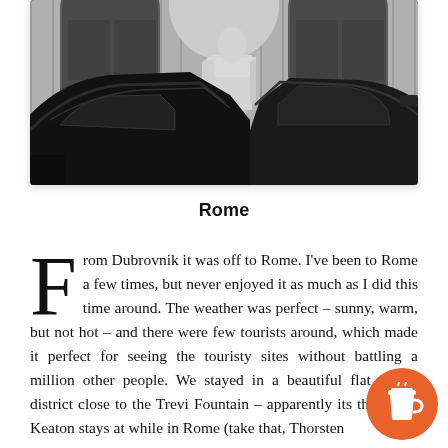[Figure (photo): Black and white photograph showing two car rooftops in the foreground with a classical stone statue of a muscular male figure standing between arched wooden doors in the background.]
Rome
From Dubrovnik it was off to Rome. I've been to Rome a few times, but never enjoyed it as much as I did this time around. The weather was perfect – sunny, warm, but not hot – and there were few tourists around, which made it perfect for seeing the touristy sites without battling a million other people. We stayed in a beautiful flat in the district close to the Trevi Fountain – apparently its the Diane Keaton stays at while in Rome (take that, Thorsten